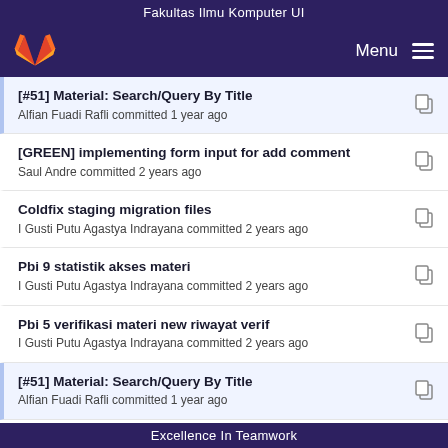Fakultas Ilmu Komputer UI
[Figure (logo): GitLab fox logo and Menu hamburger icon on dark purple navigation bar]
[#51] Material: Search/Query By Title
Alfian Fuadi Rafli committed 1 year ago
[GREEN] implementing form input for add comment
Saul Andre committed 2 years ago
Coldfix staging migration files
I Gusti Putu Agastya Indrayana committed 2 years ago
Pbi 9 statistik akses materi
I Gusti Putu Agastya Indrayana committed 2 years ago
Pbi 5 verifikasi materi new riwayat verif
I Gusti Putu Agastya Indrayana committed 2 years ago
[#51] Material: Search/Query By Title
Alfian Fuadi Rafli committed 1 year ago
[REFACTOR] create edit and delete category pages
Saul Andre committed 2 years ago
Excellence In Teamwork